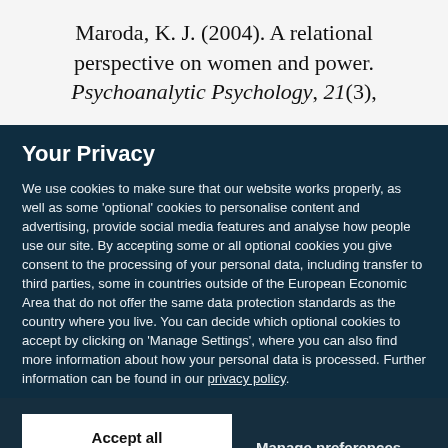Maroda, K. J. (2004). A relational perspective on women and power. Psychoanalytic Psychology, 21(3),
Your Privacy
We use cookies to make sure that our website works properly, as well as some ‘optional’ cookies to personalise content and advertising, provide social media features and analyse how people use our site. By accepting some or all optional cookies you give consent to the processing of your personal data, including transfer to third parties, some in countries outside of the European Economic Area that do not offer the same data protection standards as the country where you live. You can decide which optional cookies to accept by clicking on ‘Manage Settings’, where you can also find more information about how your personal data is processed. Further information can be found in our privacy policy.
Accept all cookies
Manage preferences